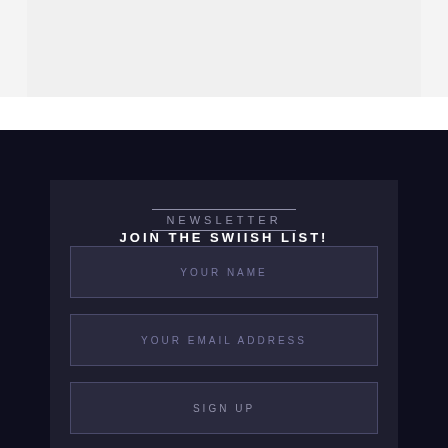[Figure (screenshot): Top light gray banner area]
NEWSLETTER
JOIN THE SWIISH LIST!
YOUR NAME
YOUR EMAIL ADDRESS
SIGN UP